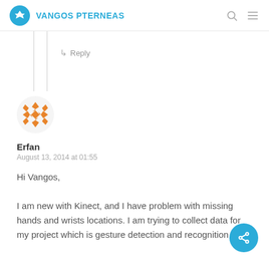VANGOS PTERNEAS
↳ Reply
[Figure (illustration): Orange geometric/kaleidoscopic avatar icon for user Erfan]
Erfan
August 13, 2014 at 01:55
Hi Vangos,
I am new with Kinect, and I have problem with missing hands and wrists locations. I am trying to collect data for my project which is gesture detection and recognition